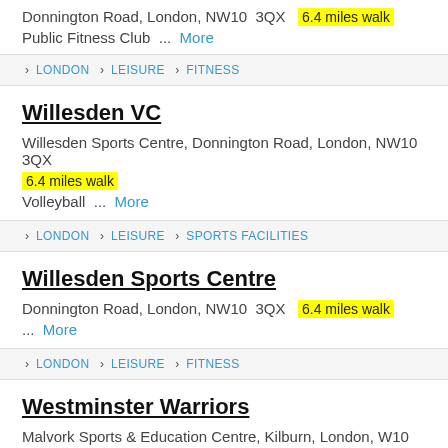Donnington Road, London, NW10 3QX  6.4 miles walk
Public Fitness Club ... More
LONDON > LEISURE > FITNESS
Willesden VC
Willesden Sports Centre, Donnington Road, London, NW10 3QX  6.4 miles walk
Volleyball ... More
LONDON > LEISURE > SPORTS FACILITIES
Willesden Sports Centre
Donnington Road, London, NW10 3QX  6.4 miles walk
... More
LONDON > LEISURE > FITNESS
Westminster Warriors
Malvork Sports & Education Centre, Kilburn, London, W10